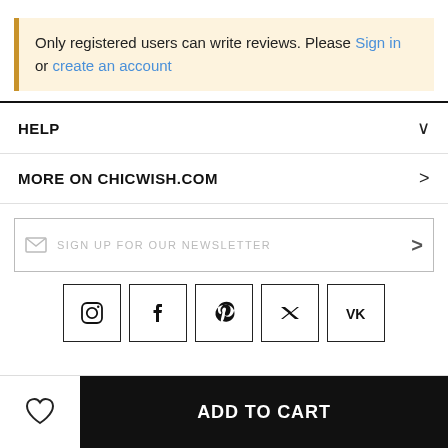Only registered users can write reviews. Please Sign in or create an account
HELP
MORE ON CHICWISH.COM
SIGN UP FOR OUR NEWSLETTER
[Figure (other): Social media icons: Instagram, Facebook, Pinterest, Twitter, VK]
ADD TO CART